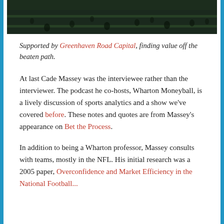[Figure (photo): Dark green sports field scene with players, seen from above, at the top of the page]
Supported by Greenhaven Road Capital, finding value off the beaten path.
At last Cade Massey was the interviewee rather than the interviewer. The podcast he co-hosts, Wharton Moneyball, is a lively discussion of sports analytics and a show we've covered before. These notes and quotes are from Massey's appearance on Bet the Process.
In addition to being a Wharton professor, Massey consults with teams, mostly in the NFL. His initial research was a 2005 paper, Overconfidence and Market Efficiency in the National Football...